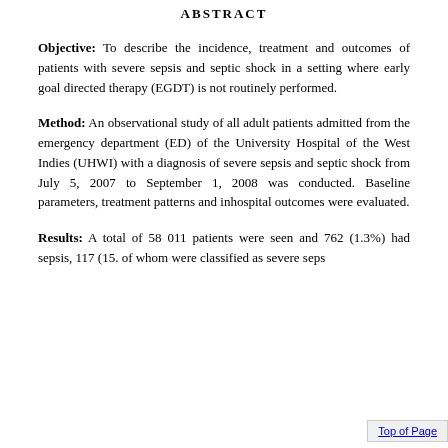ABSTRACT
Objective: To describe the incidence, treatment and outcomes of patients with severe sepsis and septic shock in a setting where early goal directed therapy (EGDT) is not routinely performed.
Method: An observational study of all adult patients admitted from the emergency department (ED) of the University Hospital of the West Indies (UHWI) with a diagnosis of severe sepsis and septic shock from July 5, 2007 to September 1, 2008 was conducted. Baseline parameters, treatment patterns and inhospital outcomes were evaluated.
Results: A total of 58 011 patients were seen and 762 (1.3%) had sepsis, 117 (15. of whom were classified as severe seps